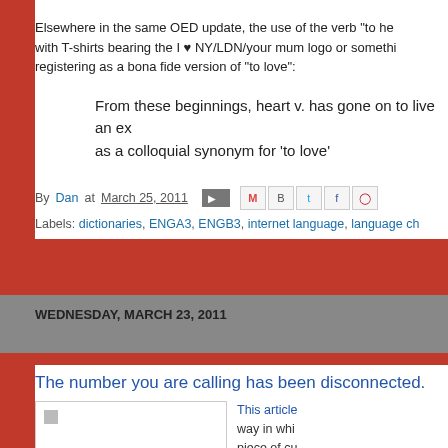Elsewhere in the same OED update, the use of the verb "to hea with T-shirts bearing the I ♥ NY/LDN/your mum logo or somethi registering as a bona fide version of "to love":
From these beginnings, heart v. has gone on to live an ex as a colloquial synonym for 'to love'
By Dan at March 25, 2011
Labels: dictionaries, ENGA3, ENGB3, internet language, language ch
WEDNESDAY, MARCH 23, 2011
The number you are calling has been disconnected.
[Figure (photo): Image placeholder in blog post]
This article way in whi piece of cu raises som communica